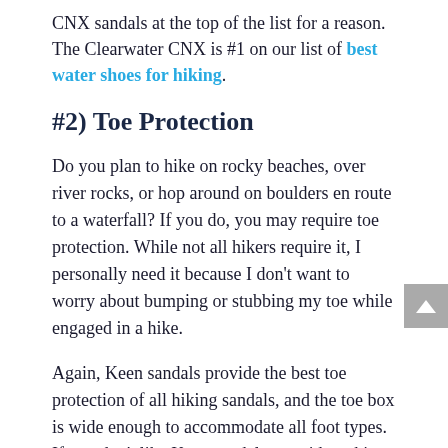CNX sandals at the top of the list for a reason. The Clearwater CNX is #1 on our list of best water shoes for hiking.
#2) Toe Protection
Do you plan to hike on rocky beaches, over river rocks, or hop around on boulders en route to a waterfall? If you do, you may require toe protection. While not all hikers require it, I personally need it because I don't want to worry about bumping or stubbing my toe while engaged in a hike.
Again, Keen sandals provide the best toe protection of all hiking sandals, and the toe box is wide enough to accommodate all foot types. If you don't like Keen sandals, consider taking a closer look at the hiking shoe/sandal hybrids in our top 10.